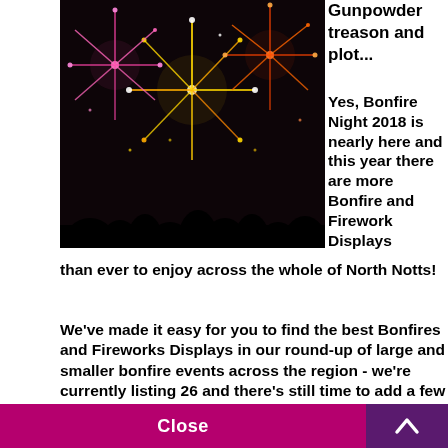[Figure (photo): Photo of colorful fireworks display over a silhouetted crowd at night]
Gunpowder treason and plot...
Yes, Bonfire Night 2018 is nearly here and this year there are more Bonfire and Firework Displays than ever to enjoy across the whole of North Notts!
We've made it easy for you to find the best Bonfires and Fireworks Displays in our round-up of large and smaller bonfire events across the region - we're currently listing 26 and there's still time to add a few more!!
This website uses cookies to ensure you get the best experience on our website.
Learn more
Close